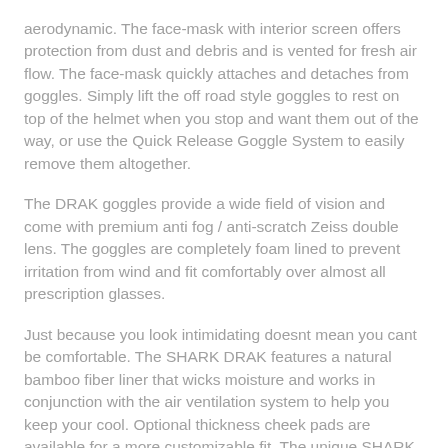aerodynamic. The face-mask with interior screen offers protection from dust and debris and is vented for fresh air flow. The face-mask quickly attaches and detaches from goggles. Simply lift the off road style goggles to rest on top of the helmet when you stop and want them out of the way, or use the Quick Release Goggle System to easily remove them altogether.
The DRAK goggles provide a wide field of vision and come with premium anti fog / anti-scratch Zeiss double lens. The goggles are completely foam lined to prevent irritation from wind and fit comfortably over almost all prescription glasses.
Just because you look intimidating doesnt mean you cant be comfortable. The SHARK DRAK features a natural bamboo fiber liner that wicks moisture and works in conjunction with the air ventilation system to help you keep your cool. Optional thickness cheek pads are available for a more customizable fit. The unique SHARK EASY FIT padding is a must for anyone who wears glasses. Padded chin straps have double D-ring. Helmet comes ready for installation of the Sharktooth (or other) Wireless